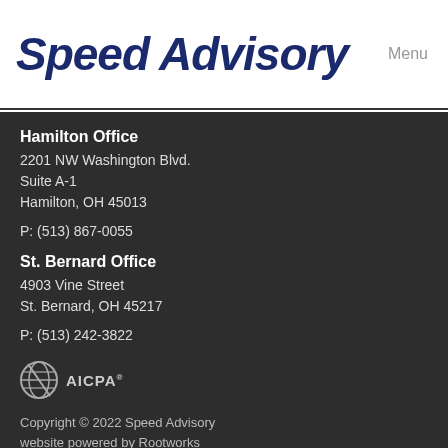Speed Advisory
Menu
Hamilton Office
2201 NW Washington Blvd.
Suite A-1
Hamilton, OH 45013

P:  (513) 867-0055
St. Bernard Office
4903 Vine Street
St. Bernard, OH 45217

P:  (513) 242-3822
[Figure (logo): AICPA logo with globe icon and AICPA text]
Copyright © 2022 Speed Advisory
website powered by Rootworks